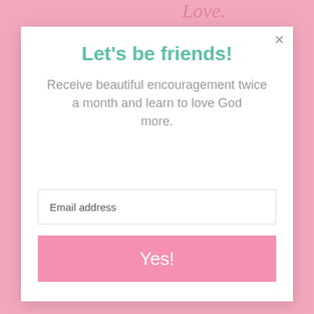[Figure (photo): Top banner showing partial photo of person and cursive 'Love' text on pink background]
Let's be friends!
Receive beautiful encouragement twice a month and learn to love God more.
Email address
Yes!